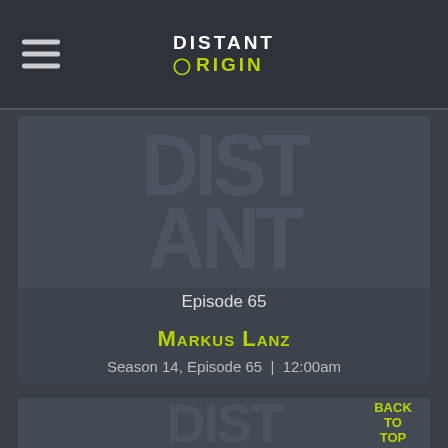DISTANT ORIGIN
[Figure (screenshot): Card showing Episode 65 with a dark background watermark image]
Episode 65
Markus Lanz
Season 14, Episode 65  |  12:00am
[Figure (screenshot): Partial second card with dark background image, Back to Top button overlay]